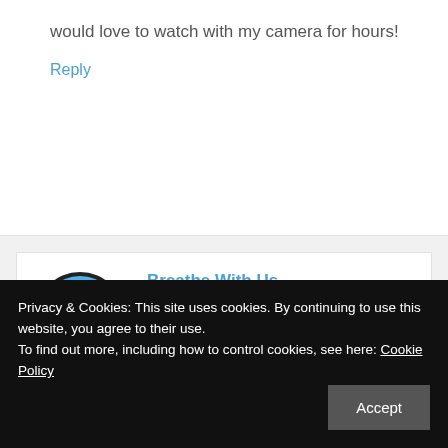would love to watch with my camera for hours!
Reply
[Figure (illustration): Circular avatar icon for Breathe With Us: blue sky with white cloud and green hill landscape]
Breathe With Us
November 21, 2016 at 09:28 pm
Ahah. They would
Privacy & Cookies: This site uses cookies. By continuing to use this website, you agree to their use.
To find out more, including how to control cookies, see here: Cookie Policy